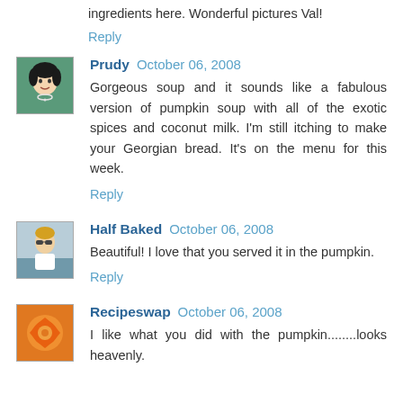ingredients here. Wonderful pictures Val!
Reply
Prudy  October 06, 2008
Gorgeous soup and it sounds like a fabulous version of pumpkin soup with all of the exotic spices and coconut milk. I'm still itching to make your Georgian bread. It's on the menu for this week.
Reply
Half Baked  October 06, 2008
Beautiful! I love that you served it in the pumpkin.
Reply
Recipeswap  October 06, 2008
I like what you did with the pumpkin........looks heavenly.